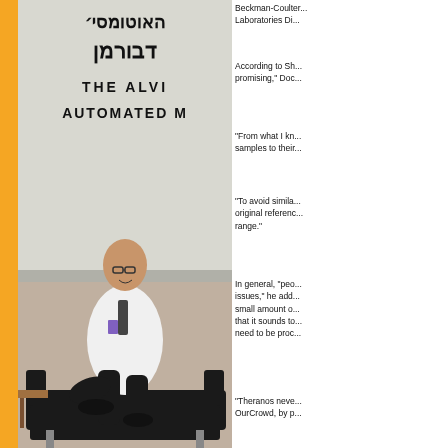[Figure (photo): A man in a white lab coat sitting on a black sofa in front of a wall with Hebrew text and English text reading THE ALVI... AUTOMATED M...]
Beckman-Coulter... Laboratories Di...
According to Sh... promising," Doc...
"From what I kn... samples to their...
"To avoid simila... original referenc... range."
In general, "peo... issues," he add... small amount o... that it sounds to... need to be proc...
"Theranos neve... OurCrowd, by p...